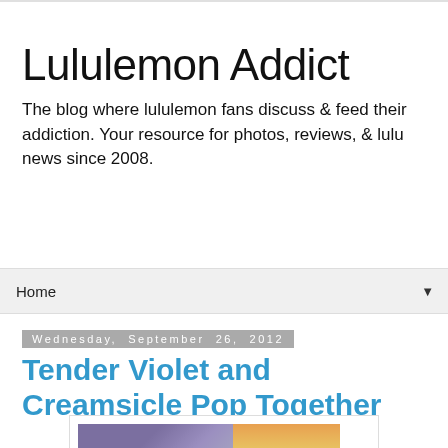Lululemon Addict
The blog where lululemon fans discuss & feed their addiction. Your resource for photos, reviews, & lulu news since 2008.
Home ▼
Wednesday, September 26, 2012
Tender Violet and Creamsicle Pop Together
[Figure (photo): Two lululemon clothing items: a purple and grey top on the left, and purple and orange striped leggings on the right]